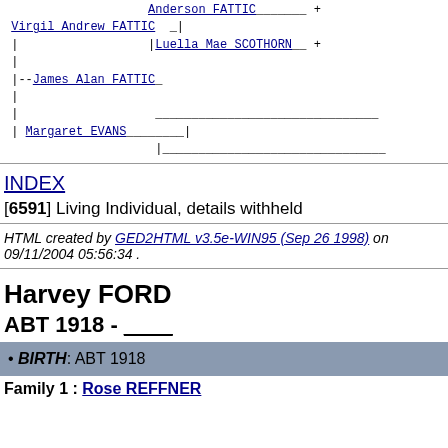[Figure (other): Genealogy pedigree chart showing family tree connections for James Alan FATTIC with parents Virgil Andrew FATTIC and Margaret EVANS, and grandparents Anderson FATTIC, Luella Mae SCOTHORN]
INDEX
[6591] Living Individual, details withheld
HTML created by GED2HTML v3.5e-WIN95 (Sep 26 1998) on 09/11/2004 05:56:34 .
Harvey FORD
ABT 1918 - ____
BIRTH: ABT 1918
Family 1 : Rose REFFNER